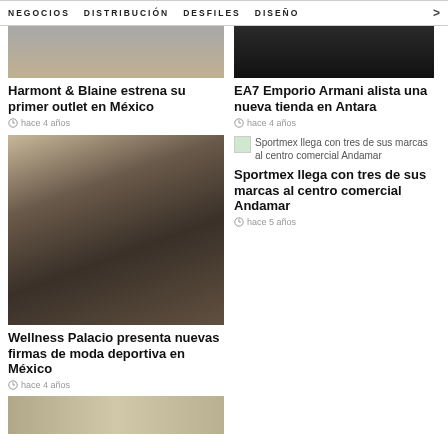NEGOCIOS  DISTRIBUCIÓN  DESFILES  DISEÑO  >
Harmont & Blaine estrena su primer outlet en México
hace 4 años
[Figure (photo): Photo of sports fashion mannequins in a store display at Wellness Palacio]
Wellness Palacio presenta nuevas firmas de moda deportiva en México
hace 4 años
[Figure (photo): Thumbnail images at bottom of page]
EA7 Emporio Armani alista una nueva tienda en Antara
hace 4 años
Sportmex llega con tres de sus marcas al centro comercial Andamar
Sportmex llega con tres de sus marcas al centro comercial Andamar
hace 5 años